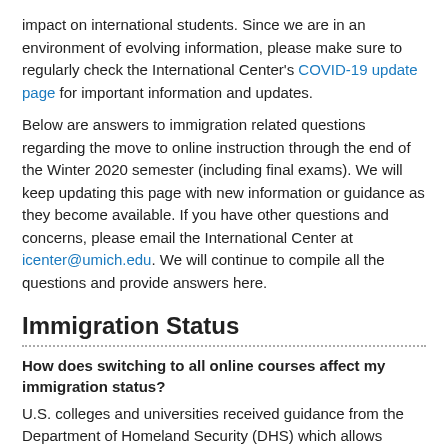impact on international students. Since we are in an environment of evolving information, please make sure to regularly check the International Center's COVID-19 update page for important information and updates.
Below are answers to immigration related questions regarding the move to online instruction through the end of the Winter 2020 semester (including final exams). We will keep updating this page with new information or guidance as they become available. If you have other questions and concerns, please email the International Center at icenter@umich.edu. We will continue to compile all the questions and provide answers here.
Immigration Status
How does switching to all online courses affect my immigration status?
U.S. colleges and universities received guidance from the Department of Homeland Security (DHS) which allows students to continue their Winter 2020 semester courses online without jeopardizing their